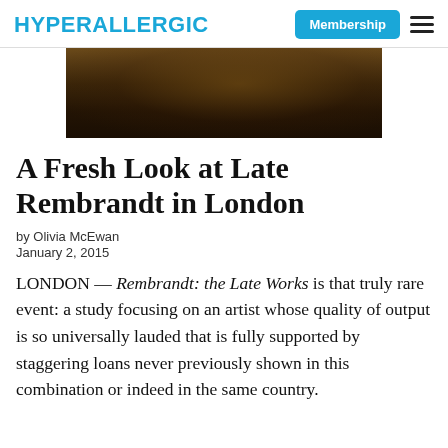HYPERALLERGIC
[Figure (photo): Close-up of a dark, warm-toned painting — partial detail of a face or figure in shadow, likely a Rembrandt painting with deep browns and ochres.]
A Fresh Look at Late Rembrandt in London
by Olivia McEwan
January 2, 2015
LONDON — Rembrandt: the Late Works is that truly rare event: a study focusing on an artist whose quality of output is so universally lauded that is fully supported by staggering loans never previously shown in this combination or indeed in the same country.